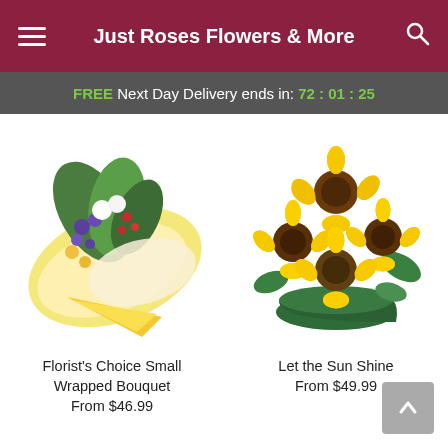Just Roses Flowers & More
FREE Next Day Delivery ends in: 72:01:25
[Figure (photo): Florist's Choice Small Wrapped Bouquet — a hand-wrapped mixed flower bouquet with purple, white, yellow, and red flowers in yellow and cream wrapping paper]
Florist's Choice Small Wrapped Bouquet
From $46.99
[Figure (photo): Let the Sun Shine — a arrangement of large yellow sunflowers/gerbera daisies in a green bowl vase]
Let the Sun Shine
From $49.99